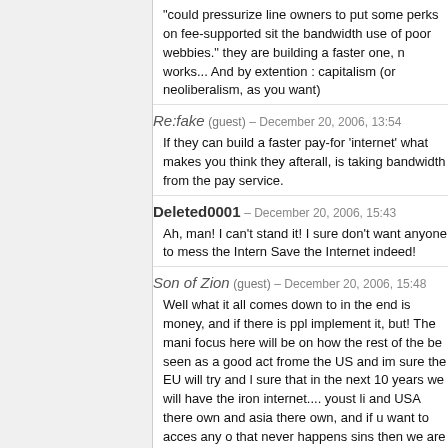"could pressurize line owners to put some perks on fee-supported sit the bandwidth use of poor webbies." they are building a faster one, n works... And by extention : capitalism (or neoliberalism, as you want)
Re:fake (guest) – December 20, 2006, 13:54
If they can build a faster pay-for 'internet' what makes you think they afterall, is taking bandwidth from the pay service.
Deleted0001 – December 20, 2006, 15:43
Ah, man! I can't stand it! I sure don't want anyone to mess the Intern Save the Internet indeed!
Son of Zion (guest) – December 20, 2006, 15:48
Well what it all comes down to in the end is money, and if there is ppl implement it, but! The mani focus here will be on how the rest of the be seen as a good act frome the US and im sure the EU will try and l sure that in the next 10 years we will have the iron internet.... youst li and USA there own and asia there own, and if u want to acces any o that never happens sins then we are surly back in the 1800.
hmm (guest) – December 20, 2006, 16:46
As pre points out, whats there to stop them from creating a high prio customers have high-speed access to their clients? It's capitalism at customers to the telcos start complaining about slow speeds to OTH wikipedia, blogs etc) and eventually even change their ISP to anothe their internet fix will probably implement this sooner or later and the s from such "bad" isps. It's all about free market.
chains – December 20, 2006, 17:28
Whats the second last song? I can't rememeber the name of it :)
Dantalion – December 21, 2006, 10:26
That would be spam. Think about net neutrality this way: What if th